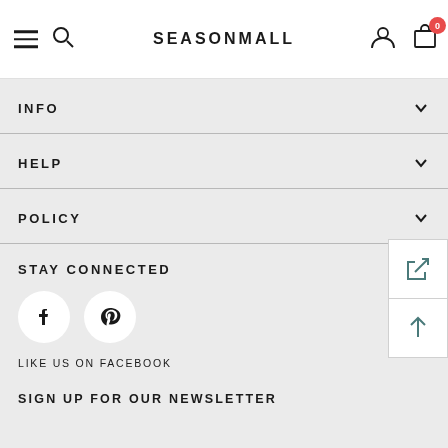SEASONMALL — navigation header with hamburger menu, search, logo, user and cart icons
INFO
HELP
POLICY
STAY CONNECTED
LIKE US ON FACEBOOK
SIGN UP FOR OUR NEWSLETTER